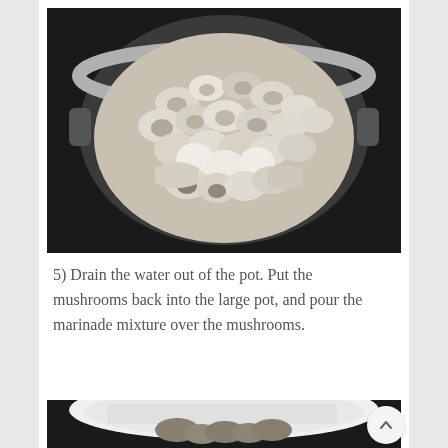[Figure (photo): A stainless steel pot filled with sliced raw mushrooms, viewed from above against a dark background.]
5) Drain the water out of the pot. Put the mushrooms back into the large pot, and pour the marinade mixture over the mushrooms.
[Figure (photo): A white colander with mushrooms being drained, partial view at bottom of page.]